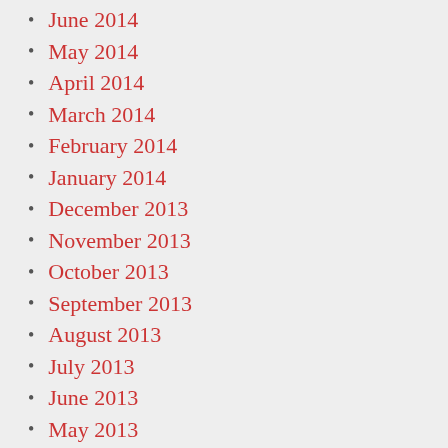June 2014
May 2014
April 2014
March 2014
February 2014
January 2014
December 2013
November 2013
October 2013
September 2013
August 2013
July 2013
June 2013
May 2013